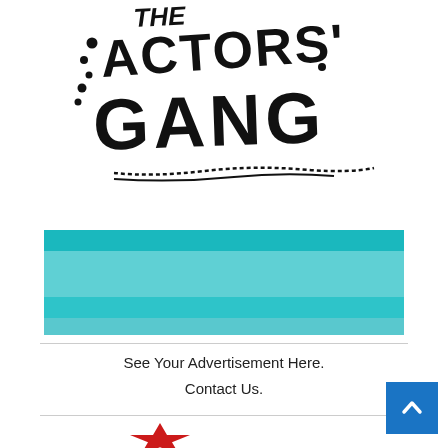[Figure (logo): The Actors' Gang hand-drawn logo with stylized graffiti lettering in black ink on white background, reading 'ACTORS GANG' with decorative dots and underline]
[Figure (illustration): Teal/turquoise colored banner advertisement block with horizontal stripes of varying shades of teal and cyan]
See Your Advertisement Here.
Contact Us.
[Figure (illustration): Partial red star shape at the bottom of the page]
[Figure (illustration): Blue back-to-top button with white upward arrow chevron in bottom right corner]